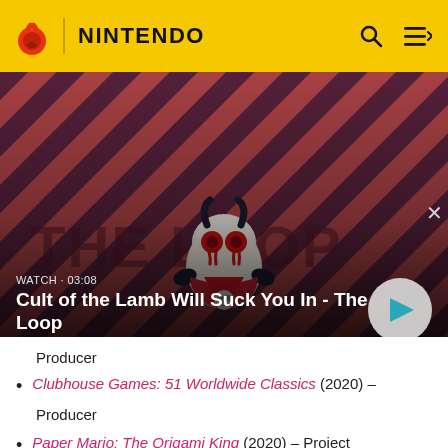NINTENDO
[Figure (screenshot): Video thumbnail for 'Cult of the Lamb Will Suck You In - The Loop' showing a stylized lamb character with red eyes on a diagonal striped red/dark background. Overlay shows 'WATCH · 03:08' and title text with a play button.]
Producer
Clubhouse Games: 51 Worldwide Classics (2020) - Producer
Paper Mario: The Origami King (2020) - Project Management